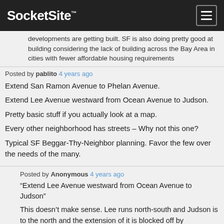SocketSite™
developments are getting built. SF is also doing pretty good at building considering the lack of building across the Bay Area in cities with fewer affordable housing requirements
Posted by pablito 4 years ago
Extend San Ramon Avenue to Phelan Avenue.
Extend Lee Avenue westward from Ocean Avenue to Judson.
Pretty basic stuff if you actually look at a map.
Every other neighborhood has streets – Why not this one?
Typical SF Beggar-Thy-Neighbor planning. Favor the few over the needs of the many.
Posted by Anonymous 4 years ago
“Extend Lee Avenue westward from Ocean Avenue to Judson”
This doesn’t make sense. Lee runs north-south and Judson is to the north and the extension of it is blocked off by Archbishop